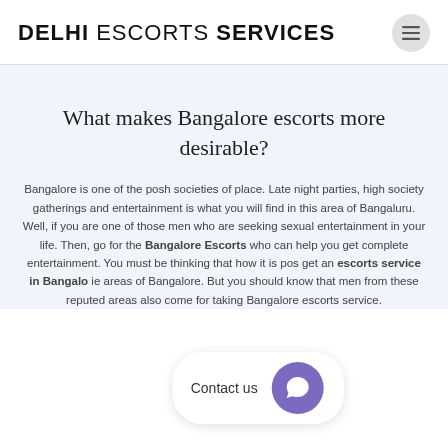DELHI ESCORTS SERVICES
What makes Bangalore escorts more desirable?
Bangalore is one of the posh societies of place. Late night parties, high society gatherings and entertainment is what you will find in this area of Bangaluru. Well, if you are one of those men who are seeking sexual entertainment in your life. Then, go for the Bangalore Escorts who can help you get complete entertainment. You must be thinking that how it is possible to get an escorts service in Bangalore from these reputed areas of Bangalore. But you should know that men from these reputed areas also come for taking Bangalore escorts service.